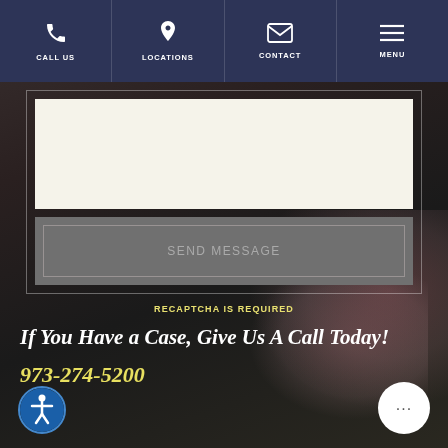CALL US  LOCATIONS  CONTACT  MENU
[Figure (screenshot): Contact form with text area input, Send Message button (greyed out), and RECAPTCHA IS REQUIRED notice]
If You Have a Case, Give Us A Call Today!
973-274-5200